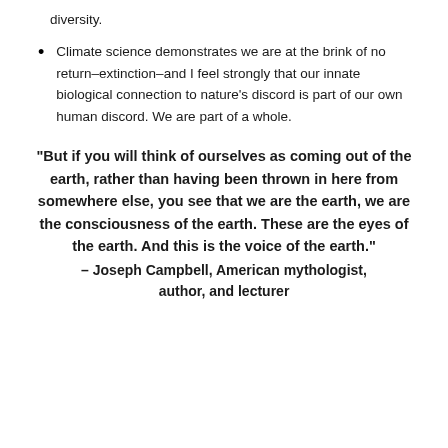diversity.
Climate science demonstrates we are at the brink of no return–extinction–and I feel strongly that our innate biological connection to nature's discord is part of our own human discord. We are part of a whole.
“But if you will think of ourselves as coming out of the earth, rather than having been thrown in here from somewhere else, you see that we are the earth, we are the consciousness of the earth. These are the eyes of the earth. And this is the voice of the earth.” – Joseph Campbell, American mythologist, author, and lecturer